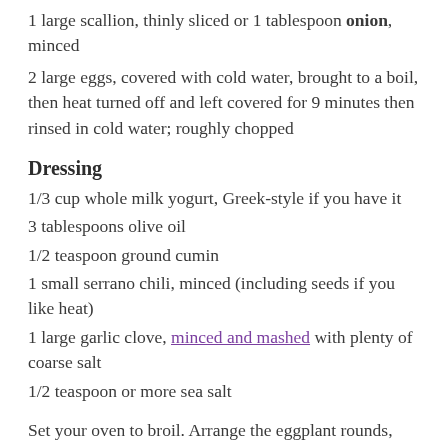1 large scallion, thinly sliced or 1 tablespoon onion, minced
2 large eggs, covered with cold water, brought to a boil, then heat turned off and left covered for 9 minutes then rinsed in cold water; roughly chopped
Dressing
1/3 cup whole milk yogurt, Greek-style if you have it
3 tablespoons olive oil
1/2 teaspoon ground cumin
1 small serrano chili, minced (including seeds if you like heat)
1 large garlic clove, minced and mashed with plenty of coarse salt
1/2 teaspoon or more sea salt
Set your oven to broil. Arrange the eggplant rounds, halved tomatoes (cut side up) and the peppers on a sheet pan. Broil, turning them over once, about…